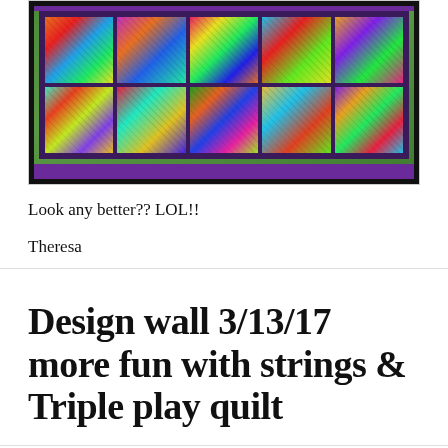[Figure (photo): A colorful patchwork/string quilt laid out on green grass. The quilt has a black outer border, a purple inner border, and contains multiple blocks with vibrant multicolored log-cabin style string-pieced patterns in oranges, blues, greens, pinks, and purples.]
Look any better?? LOL!!
Theresa
Design wall 3/13/17 more fun with strings & Triple play quilt